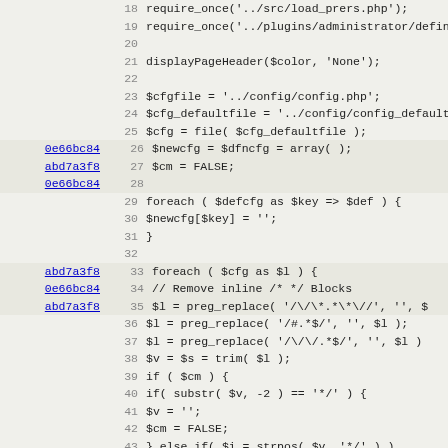[Figure (screenshot): Source code diff/blame view showing PHP code lines 18-50 with commit hashes on the left margin and line numbers, on a light gray background]